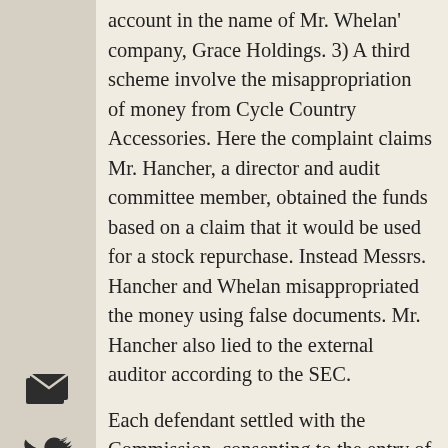account in the name of Mr. Whelan' company, Grace Holdings. 3) A third scheme involve the misappropriation of money from Cycle Country Accessories. Here the complaint claims Mr. Hancher, a director and audit committee member, obtained the funds based on a claim that it would be used for a stock repurchase. Instead Messrs. Hancher and Whelan misappropriated the money using false documents. Mr. Hancher also lied to the external auditor according to the SEC.
Each defendant settled with the Commission, consenting to the entry of a permanent injunction. As to Mr. Hancher the injunction was based on Securities Act Section 17(a) and Exchange Act Sections 10(b), 13(a), 13(b)(5) and 15(a)(1). As to Mr. Whelan it was based on Exchange Act Section 10(b). The injunction against Commerce Street was based on Securities Act Section 17(a) and Exchange Act Sections 10(b) and 15(a)(1) while for Grace Holdings